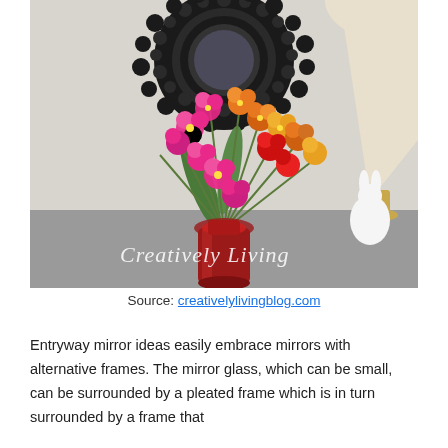[Figure (photo): A decorative arrangement with a bouquet of vibrant pink, red, orange, and yellow orchid flowers in a red glass vase, placed on a gray surface. Behind the flowers is a round mirror with a dark beaded/ball frame. A white ceramic rabbit figurine and a gold-based lamp are visible to the right. The text 'Creatively Living' is overlaid in cursive script at the bottom left of the image.]
Source: creativelylivingblog.com
Entryway mirror ideas easily embrace mirrors with alternative frames. The mirror glass, which can be small, can be surrounded by a pleated frame which is in turn surrounded by a frame that